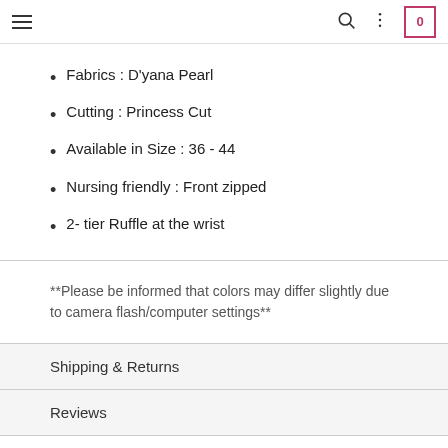Navigation bar with hamburger menu, search, dots menu, and cart (0)
Fabrics : D'yana Pearl
Cutting : Princess Cut
Available in Size : 36 - 44
Nursing friendly : Front zipped
2- tier Ruffle at the wrist
**Please be informed that colors may differ slightly due to camera flash/computer settings**
Shipping & Returns
Reviews
Shares: